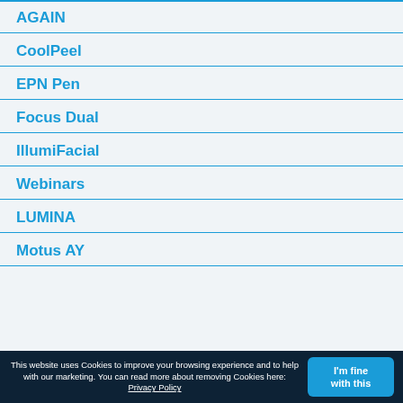AGAIN
CoolPeel
EPN Pen
Focus Dual
IllumiFacial
Webinars
LUMINA
Motus AY
This website uses Cookies to improve your browsing experience and to help with our marketing. You can read more about removing Cookies here: Privacy Policy  I'm fine with this